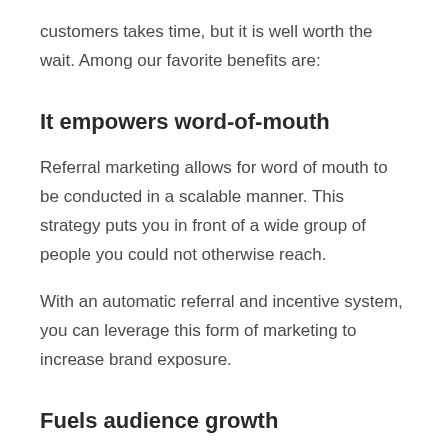customers takes time, but it is well worth the wait. Among our favorite benefits are:
It empowers word-of-mouth
Referral marketing allows for word of mouth to be conducted in a scalable manner. This strategy puts you in front of a wide group of people you could not otherwise reach.
With an automatic referral and incentive system, you can leverage this form of marketing to increase brand exposure.
Fuels audience growth
The aim for marketers is to have the business brought up in conversation because a person shares their